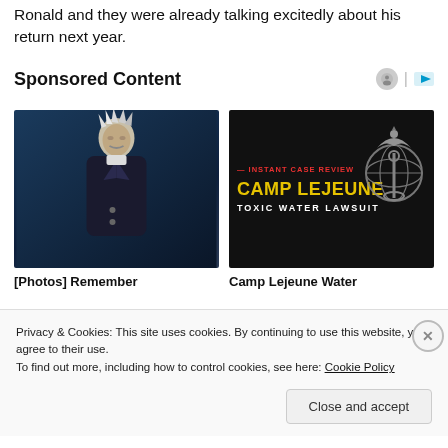Ronald and they were already talking excitedly about his return next year.
Sponsored Content
[Figure (photo): Sponsored ad tile showing a man with white spiky hair in a dark coat against a blue-grey background]
[Photos] Remember
[Figure (photo): Sponsored ad tile for Camp Lejeune Toxic Water Lawsuit with yellow text on black background and Marine Corps emblem]
Camp Lejeune Water
Privacy & Cookies: This site uses cookies. By continuing to use this website, you agree to their use.
To find out more, including how to control cookies, see here: Cookie Policy
Close and accept